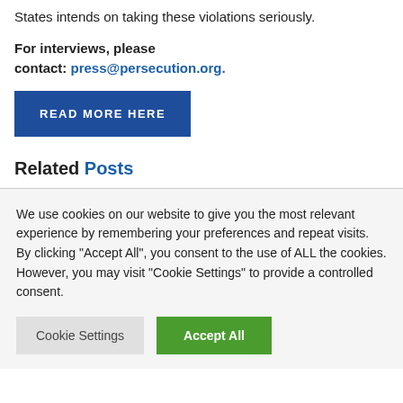States intends on taking these violations seriously.
For interviews, please contact: press@persecution.org.
READ MORE HERE
Related Posts
We use cookies on our website to give you the most relevant experience by remembering your preferences and repeat visits. By clicking “Accept All”, you consent to the use of ALL the cookies. However, you may visit "Cookie Settings" to provide a controlled consent.
Cookie Settings | Accept All